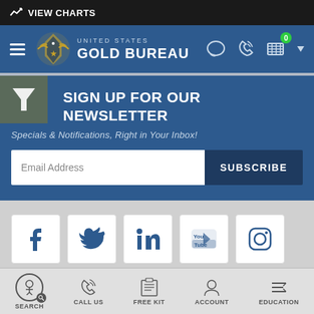VIEW CHARTS
[Figure (logo): United States Gold Bureau logo with eagle emblem]
SIGN UP FOR OUR NEWSLETTER
Specials & Notifications, Right in Your Inbox!
[Figure (screenshot): Email address input field with SUBSCRIBE button]
[Figure (infographic): Social media icons: Facebook, Twitter, LinkedIn, YouTube, Instagram]
SEARCH | CALL US | FREE KIT | ACCOUNT | EDUCATION